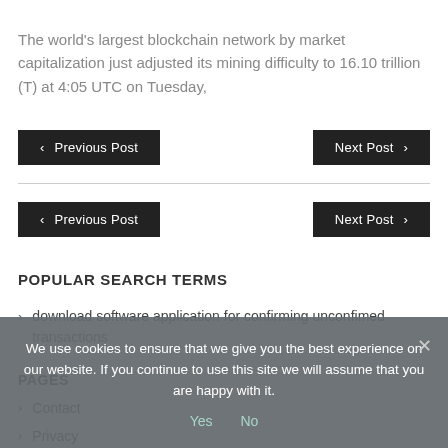The world's largest blockchain network by market capitalization just adjusted its mining difficulty to 16.10 trillion (T) at 4:05 UTC on Tuesday,
‹  Previous Post
Next Post  ›
‹  Previous Post
Next Post  ›
POPULAR SEARCH TERMS
> download software application for confirming unconfimed transactions
PAGES
> Contact
> Privacy
We use cookies to ensure that we give you the best experience on our website. If you continue to use this site we will assume that you are happy with it.